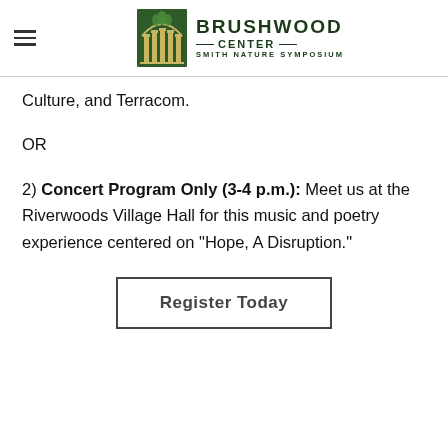Brushwood Center — Smith Nature Symposium
Culture, and Terracom.
OR
2) Concert Program Only (3-4 p.m.): Meet us at the Riverwoods Village Hall for this music and poetry experience centered on "Hope, A Disruption."
Register Today